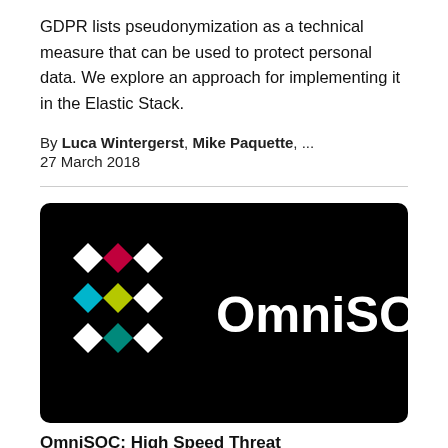GDPR lists pseudonymization as a technical measure that can be used to protect personal data. We explore an approach for implementing it in the Elastic Stack.
By Luca Wintergerst, Mike Paquette, ...
27 March 2018
[Figure (logo): OmniSOC logo on black background with a pattern of colored diamond shapes (white, red, white, cyan, yellow-green, white, white, teal, white) arranged in a 3x3 grid on the left, and the word 'OmniSOC' in large white bold text on the right.]
OmniSOC: High Speed Threat